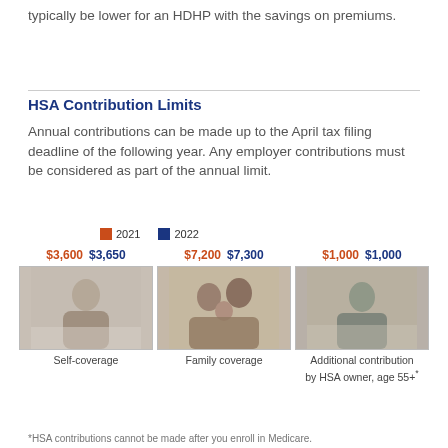typically be lower for an HDHP with the savings on premiums.
HSA Contribution Limits
Annual contributions can be made up to the April tax filing deadline of the following year. Any employer contributions must be considered as part of the annual limit.
[Figure (infographic): Three image cards showing HSA contribution limits for Self-coverage ($3,600 / $3,650), Family coverage ($7,200 / $7,300), and Additional contribution by HSA owner age 55+ ($1,000 / $1,000) for 2021 and 2022, with legend showing orange for 2021 and blue for 2022.]
*HSA contributions cannot be made after you enroll in Medicare.